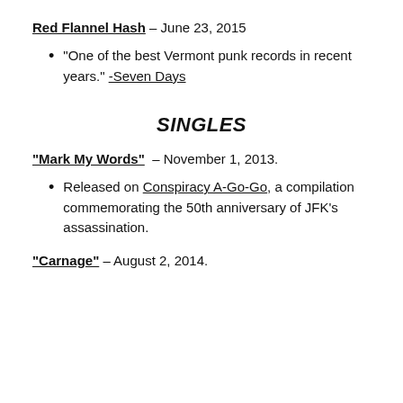Red Flannel Hash – June 23, 2015
"One of the best Vermont punk records in recent years." -Seven Days
SINGLES
"Mark My Words" – November 1, 2013.
Released on Conspiracy A-Go-Go, a compilation commemorating the 50th anniversary of JFK's assassination.
"Carnage" – August 2, 2014.